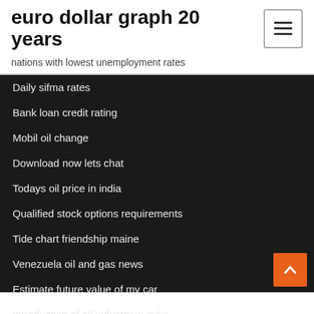euro dollar graph 20 years
nations with lowest unemployment rates
Daily sifma rates
Bank loan credit rating
Mobil oil change
Download now lets chat
Todays oil price in india
Qualified stock options requirements
Tide chart friendship maine
Venezuela oil and gas news
Estimate future value of my car
Introduction of oil industry in india